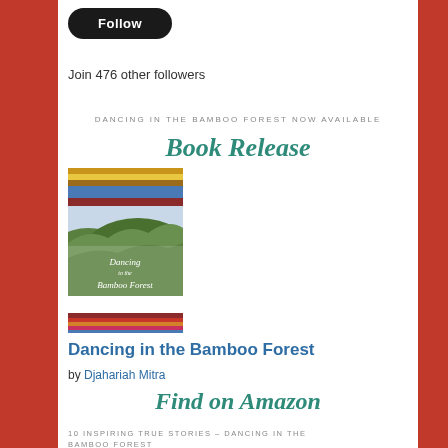Follow
Join 476 other followers
DANCING IN THE BAMBOO FOREST NOW AVAILABLE
Book Release
[Figure (illustration): Book cover of 'Dancing to the Bamboo Forest' by Djahariah Mitra, showing green hills and decorative textile borders at top and bottom]
Dancing in the Bamboo Forest
by Djahariah Mitra
Find on Amazon
10 INSPIRING TRUE STORIES – DANCING IN THE BAMBOO FOREST